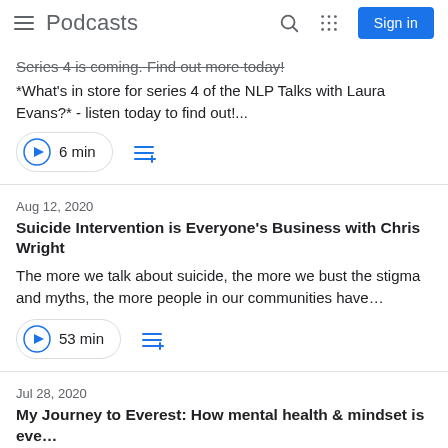Podcasts
Series 4 is coming. Find out more today!
*What's in store for series 4 of the NLP Talks with Laura Evans?* - listen today to find out!...
6 min
Aug 12, 2020
Suicide Intervention is Everyone's Business with Chris Wright
The more we talk about suicide, the more we bust the stigma and myths, the more people in our communities have...
53 min
Jul 28, 2020
My Journey to Everest: How mental health & mindset is eve...
*Jamie McAnsh is more than just a disabled man, an athlete, and a coach. Jamie is a survivor!...